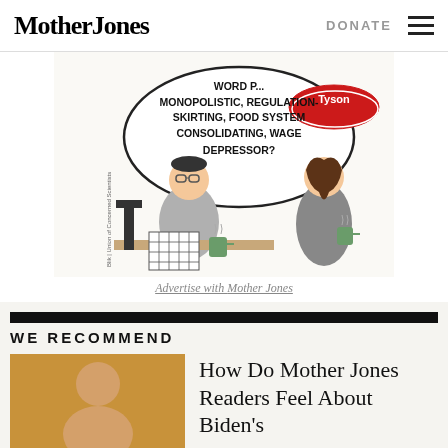Mother Jones | DONATE
[Figure (illustration): Editorial cartoon showing a man doing a crossword puzzle at a table with coffee, and a woman holding a mug. A speech bubble from the Tyson logo reads: 'WORD MONOPOLISTIC, REGULATION-SKIRTING, FOOD SYSTEM CONSOLIDATING, WAGE DEPRESSOR?' Byline: Blik | Union of Concerned Scientists]
Advertise with Mother Jones
WE RECOMMEND
[Figure (photo): Thumbnail photo of a person]
How Do Mother Jones Readers Feel About Biden's